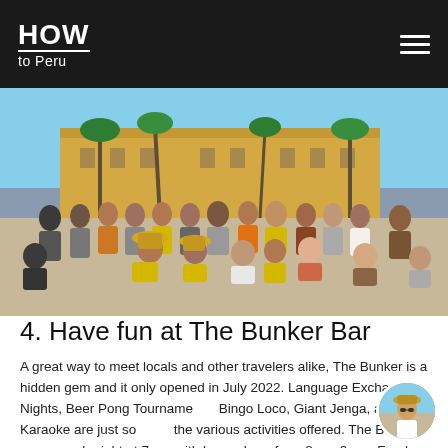HOW to Peru
[Figure (photo): Large group photo of tourists and guides posing together in a sunny plaza in Lima, Peru, with palm trees and colonial yellow building in the background.]
4. Have fun at The Bunker Bar
A great way to meet locals and other travelers alike, The Bunker is a hidden gem and it only opened in July 2022. Language Exchange Nights, Beer Pong Tournaments, Bingo Loco, Giant Jenga, and Karaoke are just some of the various activities offered. The Bunker opens each night at 7 pm with happy hour from 8 pm-9 pm. Food and